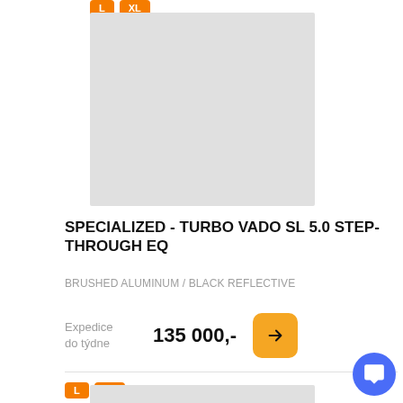[Figure (other): Product image placeholder (light gray rectangle) for bicycle]
SPECIALIZED - TURBO VADO SL 5.0 STEP-THROUGH EQ
BRUSHED ALUMINUM / BLACK REFLECTIVE
Expedice do týdne   135 000,-
[Figure (other): Product image placeholder (light gray rectangle) for second bicycle listing]
L  XL